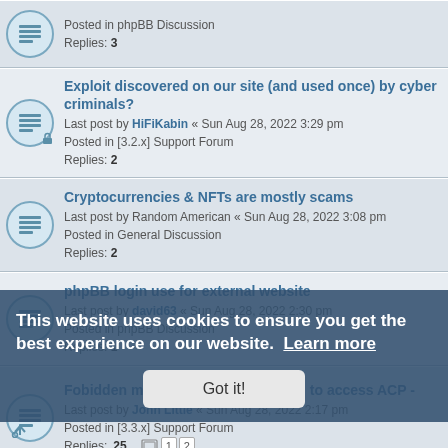Posted in phpBB Discussion
Replies: 3
Exploit discovered on our site (and used once) by cyber criminals?
Last post by HiFiKabin « Sun Aug 28, 2022 3:29 pm
Posted in [3.2.x] Support Forum
Replies: 2
Cryptocurrencies & NFTs are mostly scams
Last post by Random American « Sun Aug 28, 2022 3:08 pm
Posted in General Discussion
Replies: 2
phpBB login use for external website
Last post by david63 « Sun Aug 28, 2022 2:30 pm
Posted in phpBB Discussion
Replies: 1
Fobidden message when attempting to access ACP -
Last post by John Little « Sun Aug 28, 2022 2:17 pm
Posted in [3.3.x] Support Forum
Replies: 25
Last post by norbavon « Sun Aug 28, 2022 12:32 pm
Replies: 1
Converter from Kunena
Last post by norbavon « Sun Aug 28, 2022 12:30 pm
Posted in [3.3.x] Convertors
Replies: 2
visual display
Last post by AbulJasam « Sun Aug 28, 2022 9:47 am
This website uses cookies to ensure you get the best experience on our website. Learn more
Got it!